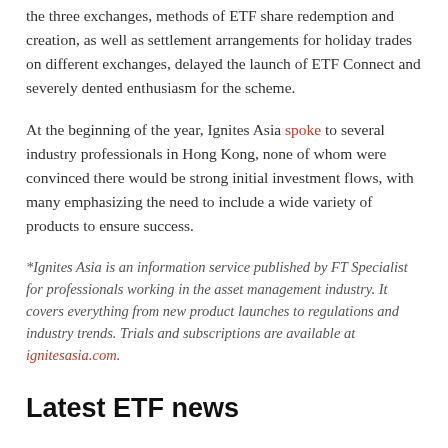the three exchanges, methods of ETF share redemption and creation, as well as settlement arrangements for holiday trades on different exchanges, delayed the launch of ETF Connect and severely dented enthusiasm for the scheme.
At the beginning of the year, Ignites Asia spoke to several industry professionals in Hong Kong, none of whom were convinced there would be strong initial investment flows, with many emphasizing the need to include a wide variety of products to ensure success.
*Ignites Asia is an information service published by FT Specialist for professionals working in the asset management industry. It covers everything from new product launches to regulations and industry trends. Trials and subscriptions are available at ignitesasia.com.
Latest ETF news